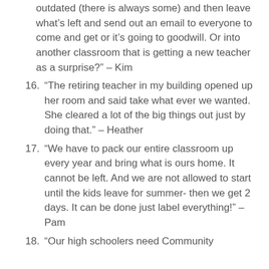outdated (there is always some) and then leave what’s left and send out an email to everyone to come and get or it’s going to goodwill. Or into another classroom that is getting a new teacher as a surprise?” – Kim
16. “The retiring teacher in my building opened up her room and said take what ever we wanted. She cleared a lot of the big things out just by doing that.” – Heather
17. “We have to pack our entire classroom up every year and bring what is ours home. It cannot be left. And we are not allowed to start until the kids leave for summer- then we get 2 days. It can be done just label everything!” – Pam
18. “Our high schoolers need Community